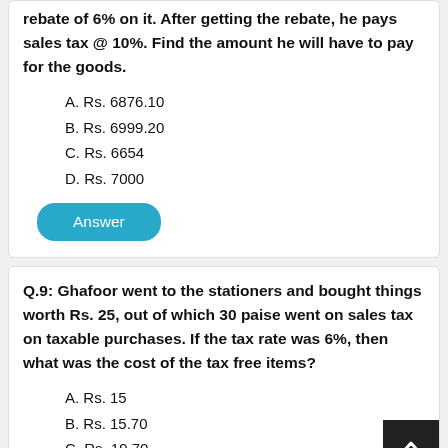rebate of 6% on it. After getting the rebate, he pays sales tax @ 10%. Find the amount he will have to pay for the goods.
A. Rs. 6876.10
B. Rs. 6999.20
C. Rs. 6654
D. Rs. 7000
Answer
Q.9: Ghafoor went to the stationers and bought things worth Rs. 25, out of which 30 paise went on sales tax on taxable purchases. If the tax rate was 6%, then what was the cost of the tax free items?
A. Rs. 15
B. Rs. 15.70
C. Rs. 19.70